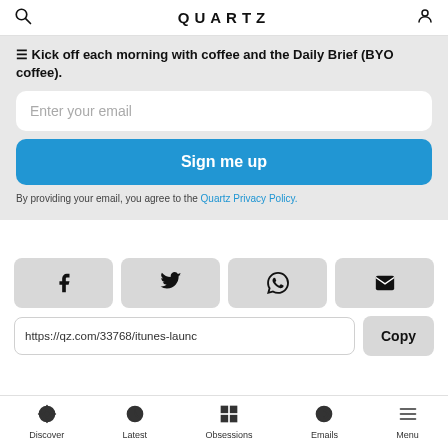QUARTZ
☰ Kick off each morning with coffee and the Daily Brief (BYO coffee).
Enter your email
Sign me up
By providing your email, you agree to the Quartz Privacy Policy.
[Figure (screenshot): Social share buttons: Facebook, Twitter, WhatsApp, Email]
https://qz.com/33768/itunes-launc
Copy
Discover | Latest | Obsessions | Emails | Menu